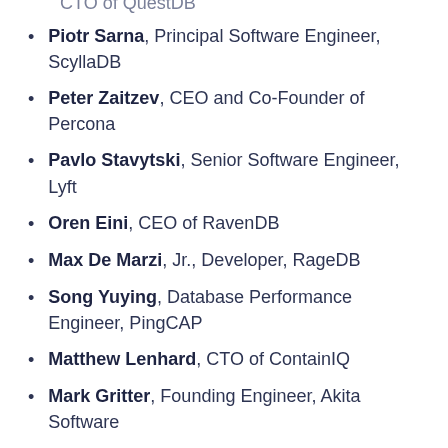CTO of QuestDB
Piotr Sarna, Principal Software Engineer, ScyllaDB
Peter Zaitzev, CEO and Co-Founder of Percona
Pavlo Stavytski, Senior Software Engineer, Lyft
Oren Eini, CEO of RavenDB
Max De Marzi, Jr., Developer, RageDB
Song Yuying, Database Performance Engineer, PingCAP
Matthew Lenhard, CTO of ContainIQ
Mark Gritter, Founding Engineer, Akita Software
Marek Galovic, Staff Software Engineer, Pinecone
Marc Richards, Performance